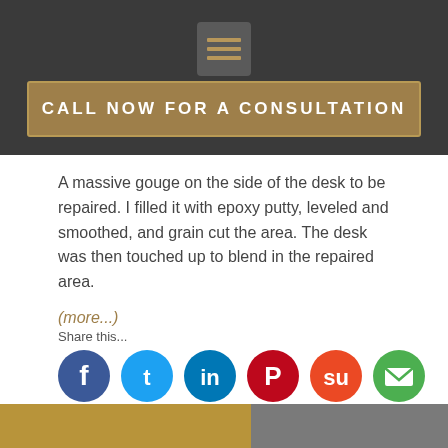[Figure (screenshot): Dark header bar with hamburger menu icon and a tan/gold 'CALL NOW FOR A CONSULTATION' button]
A massive gouge on the side of the desk to be repaired.  I filled it with epoxy putty, leveled and smoothed, and grain cut the area.  The desk was then touched up to blend in the repaired area.
(more...)
Share this...
[Figure (infographic): Row of six social media share icons: Facebook (blue), Twitter (light blue), LinkedIn (blue), Pinterest (red), StumbleUpon (orange), Email (green)]
[Figure (photo): Bottom partial photos showing furniture/wood repair images]